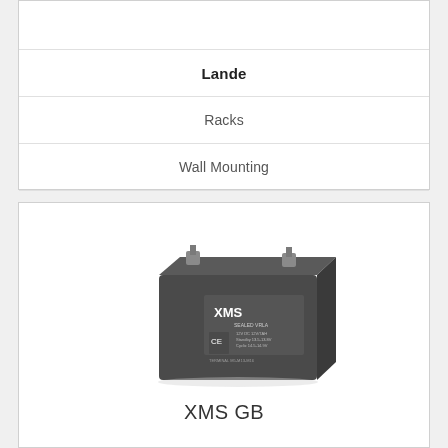Lande
Racks
Wall Mounting
Office
[Figure (photo): XMS GB sealed lead-acid battery, dark grey rectangular casing with terminals on top, XMS branding and CE marking on front label]
XMS GB